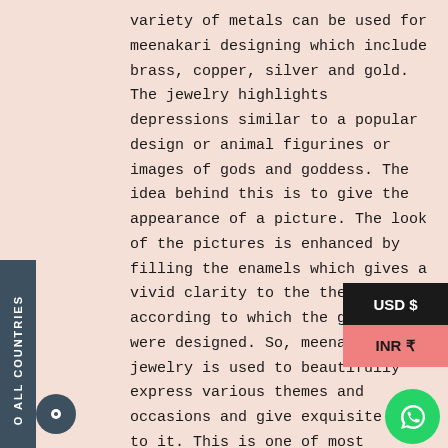variety of metals can be used for meenakari designing which include brass, copper, silver and gold. The jewelry highlights depressions similar to a popular design or animal figurines or images of gods and goddess. The idea behind this is to give the appearance of a picture. The look of the pictures is enhanced by filling the enamels which gives a vivid clarity to the theme according to which the grooves were designed. So, meenakari jewelry is used to beautifully express various themes and occasions and give exquisite look to it. This is one of most applauded features of the meenakari technique which distinguishes it from others.

Each piece of VeroniQ Trends jewellery is